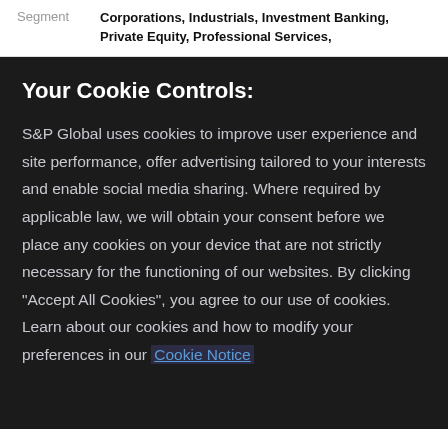| Segment |  |
| --- | --- |
| Segment | Corporations, Industrials, Investment Banking, Private Equity, Professional Services, |
Your Cookie Controls:
S&P Global uses cookies to improve user experience and site performance, offer advertising tailored to your interests and enable social media sharing. Where required by applicable law, we will obtain your consent before we place any cookies on your device that are not strictly necessary for the functioning of our websites. By clicking "Accept All Cookies", you agree to our use of cookies. Learn about our cookies and how to modify your preferences in our Cookie Notice